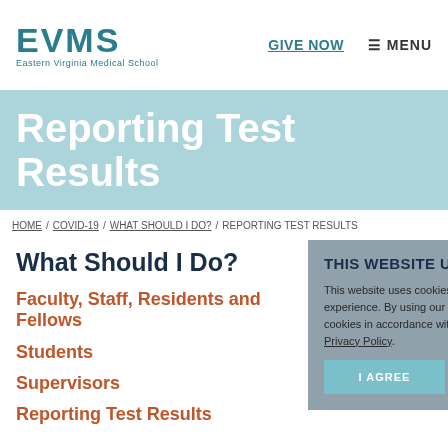EVMS Eastern Virginia Medical School | GIVE NOW | MENU
Reporting Test Results
HOME / COVID-19 / WHAT SHOULD I DO? / REPORTING TEST RESULTS
What Should I Do?
Faculty, Staff, Residents and Fellows
Students
Supervisors
Reporting Test Results
THIS WEBSITE USES COOKIES
This website uses cookies to improve user experience. By using our website you consent to all cookies in accordance with our Privacy Policy.
Privacy Policy.
I AGREE    I DISAGREE